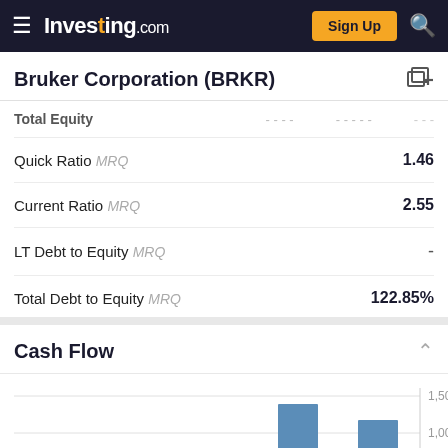Investing.com
Bruker Corporation (BRKR)
| Metric | Value |
| --- | --- |
| Total Equity MRQ | — |
| Quick Ratio MRQ | 1.46 |
| Current Ratio MRQ | 2.55 |
| LT Debt to Equity MRQ | - |
| Total Debt to Equity MRQ | 122.85% |
Cash Flow
[Figure (bar-chart): Cash Flow]